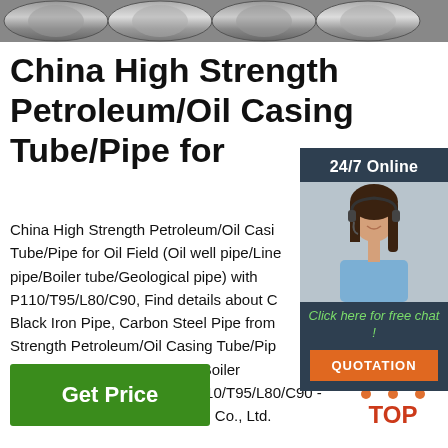[Figure (photo): Close-up photo of steel pipes/tubes stacked together, metallic grey surface visible at the top of the page.]
China High Strength Petroleum/Oil Casing Tube/Pipe for
[Figure (infographic): Sidebar with '24/7 Online' label, a customer service representative photo (woman with headset), 'Click here for free chat!' text in green, and an orange 'QUOTATION' button.]
China High Strength Petroleum/Oil Casing Tube/Pipe for Oil Field (Oil well pipe/Line pipe/Boiler tube/Geological pipe) with P110/T95/L80/C90, Find details about C Black Iron Pipe, Carbon Steel Pipe from Strength Petroleum/Oil Casing Tube/Pipe Field (Oil well pipe/Line pipe/Boiler tube/Geological pipe) with P110/T95/L80/C90 - Wuxi Guangjin Stainless Steel Co., Ltd.
[Figure (logo): TOP logo — orange triangle/arrow pointing up made of dots above the word TOP in orange/red text.]
Get Price